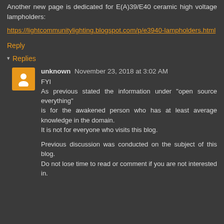Another new page is dedicated for E(A)39/E40 ceramic high voltage lampholders:
https://lightcommunitylighting.blogspot.com/p/e3940-lampholders.html
Reply
▾ Replies
unknown November 23, 2018 at 3:02 AM
FYI
As previous stated the information under "open source everything"
is for the awakened person who has at least average knowledge in the domain.
It is not for everyone who visits this blog.

Previous discussion was conducted on the subject of this blog.
Do not lose time to read or comment if you are not interested in.